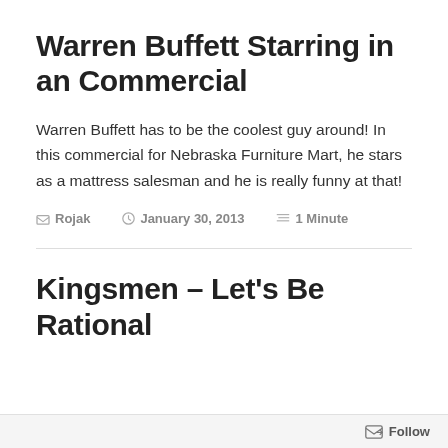Warren Buffett Starring in an Commercial
Warren Buffett has to be the coolest guy around! In this commercial for Nebraska Furniture Mart, he stars as a mattress salesman and he is really funny at that!
Rojak  January 30, 2013  1 Minute
Kingsmen – Let's Be Rational
Follow